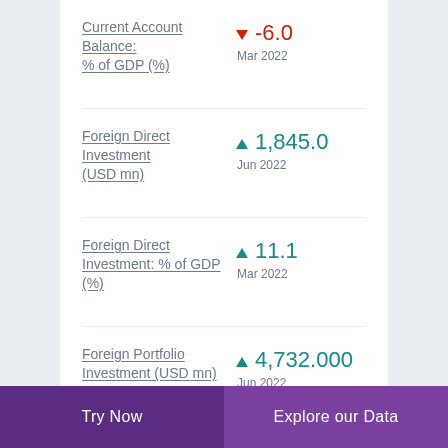Current Account Balance: % of GDP (%) ▼ -6.0 Mar 2022
Foreign Direct Investment (USD mn) ▲ 1,845.0 Jun 2022
Foreign Direct Investment: % of GDP (%) ▲ 11.1 Mar 2022
Foreign Portfolio Investment (USD mn) ▲ 4,732.000 Jun 2022
Foreign Portfolio Investment: % of GDP ▲ 2.9
Try Now | Explore our Data